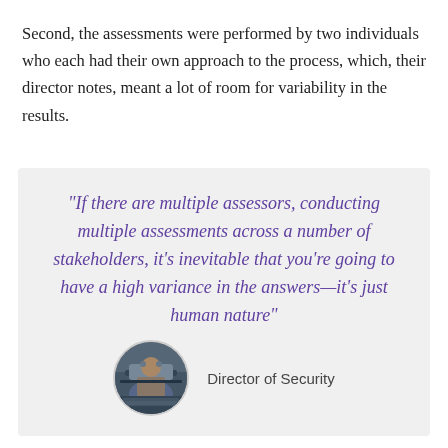Second, the assessments were performed by two individuals who each had their own approach to the process, which, their director notes, meant a lot of room for variability in the results.
“If there are multiple assessors, conducting multiple assessments across a number of stakeholders, it’s inevitable that you’re going to have a high variance in the answers—it’s just human nature” — Director of Security